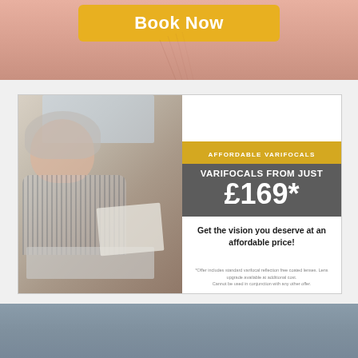[Figure (photo): Top banner with skin-tone background showing a 'Book Now' yellow button]
[Figure (infographic): Advertisement for affordable varifocals showing a middle-aged woman with grey hair sitting on a sofa with a laptop and notebook. Right side has yellow banner 'AFFORDABLE VARIFOCALS', grey box 'VARIFOCALS FROM JUST £169*', and tagline 'Get the vision you deserve at an affordable price!' with fine print at bottom.]
*Offer includes standard varifocal reflection free coated lenses. Lens upgrade available at additional cost. Cannot be used in conjunction with any other offer.
[Figure (photo): Bottom bluish-grey banner/image section]